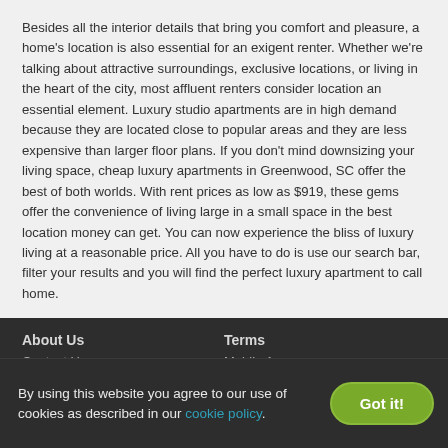Besides all the interior details that bring you comfort and pleasure, a home's location is also essential for an exigent renter. Whether we're talking about attractive surroundings, exclusive locations, or living in the heart of the city, most affluent renters consider location an essential element. Luxury studio apartments are in high demand because they are located close to popular areas and they are less expensive than larger floor plans. If you don't mind downsizing your living space, cheap luxury apartments in Greenwood, SC offer the best of both worlds. With rent prices as low as $919, these gems offer the convenience of living large in a small space in the best location money can get. You can now experience the bliss of luxury living at a reasonable price. All you have to do is use our search bar, filter your results and you will find the perfect luxury apartment to call home.
Finding a home nearby is easier than you think. Check out our Apartments Near Me page and take your pick!
About Us | Terms | Contact Us | Mobile App
By using this website you agree to our use of cookies as described in our cookie policy.